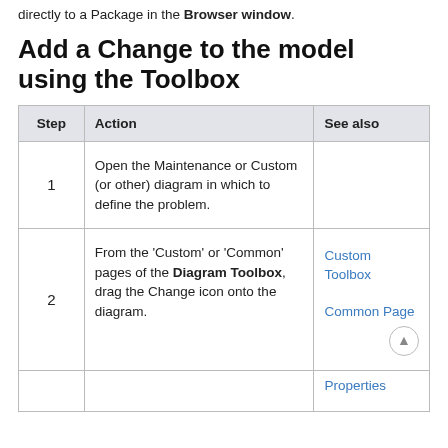directly to a Package in the Browser window.
Add a Change to the model using the Toolbox
| Step | Action | See also |
| --- | --- | --- |
| 1 | Open the Maintenance or Custom (or other) diagram in which to define the problem. |  |
| 2 | From the 'Custom' or 'Common' pages of the Diagram Toolbox, drag the Change icon onto the diagram. | Custom Toolbox

Common Page |
|  |  | Properties |